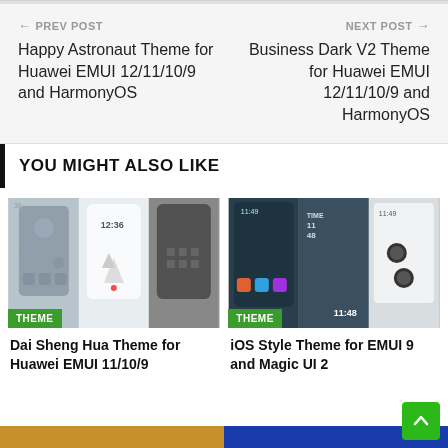← PREV POST
Happy Astronaut Theme for Huawei EMUI 12/11/10/9 and HarmonyOS
NEXT POST →
Business Dark V2 Theme for Huawei EMUI 12/11/10/9 and HarmonyOS
YOU MIGHT ALSO LIKE
[Figure (photo): Dai Sheng Hua Theme for Huawei EMUI 11/10/9 - three phone screenshots with THEME badge]
Dai Sheng Hua Theme for Huawei EMUI 11/10/9
[Figure (photo): iOS Style Theme for EMUI 9 and Magic UI 2 - three phone screenshots with THEME badge]
iOS Style Theme for EMUI 9 and Magic UI 2